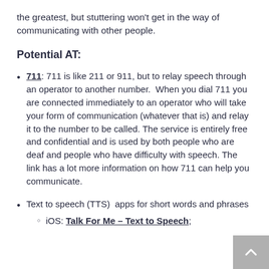the greatest, but stuttering won't get in the way of communicating with other people.
Potential AT:
711: 711 is like 211 or 911, but to relay speech through an operator to another number. When you dial 711 you are connected immediately to an operator who will take your form of communication (whatever that is) and relay it to the number to be called. The service is entirely free and confidential and is used by both people who are deaf and people who have difficulty with speech. The link has a lot more information on how 711 can help you communicate.
Text to speech (TTS) apps for short words and phrases
iOS: Talk For Me – Text to Speech;